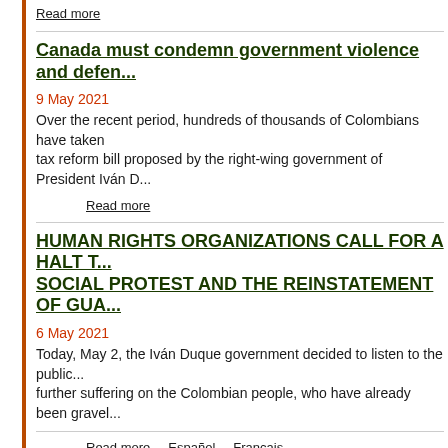Read more
Canada must condemn government violence and defend...
9 May 2021
Over the recent period, hundreds of thousands of Colombians have taken... tax reform bill proposed by the right-wing government of President Iván D...
Read more
HUMAN RIGHTS ORGANIZATIONS CALL FOR A HALT T... SOCIAL PROTEST AND THE REINSTATEMENT OF GUA...
6 May 2021
Today, May 2, the Iván Duque government decided to listen to the public... further suffering on the Colombian people, who have already been gravel...
Read more   Español   Français
Montage judiciaire contre le mouvement social colombi...
11 April 2021
DÉNONCIATION PUBLIQUE MONTAGE JUDICIAIRE CONTRE LE MOU...